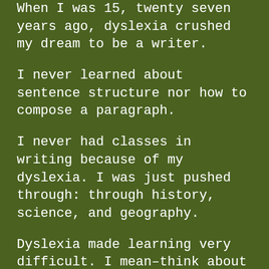When I was 15, twenty seven years ago, dyslexia crushed my dream to be a writer.
I never learned about sentence structure nor how to compose a paragraph.
I never had classes in writing because of my dyslexia. I was just pushed through: through history, science, and geography.
Dyslexia made learning very difficult. I mean–think about it: For every subject you need to read a textbook. How do you learn math without reading? How do learn science without reading?
Homework that took the average student 15 minutes took me three hours. Even so, I averaged a